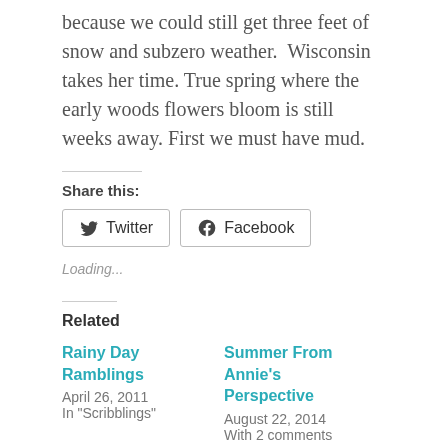because we could still get three feet of snow and subzero weather.  Wisconsin takes her time. True spring where the early woods flowers bloom is still weeks away. First we must have mud.
Share this:
Twitter   Facebook
Loading...
Related
Rainy Day Ramblings
April 26, 2011
In "Scribblings"
Summer From Annie's Perspective
August 22, 2014
With 2 comments